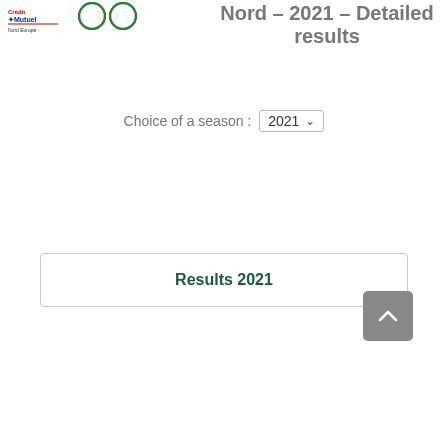Crédit Mutuel Nord 2021 - Detailed results
Choice of a season : 2021
Results 2021